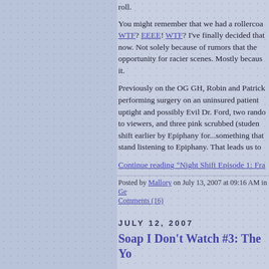roll.
You might remember that we had a rollercoaster WTF? EEEE! WTF? I've finally decided that now. Not solely because of rumors that the opportunity for racier scenes. Mostly because it.
Previously on the OG GH, Robin and Patrick performing surgery on an uninsured patient uptight and possibly Evil Dr. Ford, two random to viewers, and three pink scrubbed (student shift earlier by Epiphany for...something that stand listening to Epiphany. That leads us to
Continue reading "Night Shift Episode 1: Fra
Posted by Mallory on July 13, 2007 at 09:16 AM in Ge Comments (16)
JULY 12, 2007
Soap I Don't Watch #3: The Yo
My uneducated peek at the "best" daytime show from SoapNet's Daytime Emmy Drama